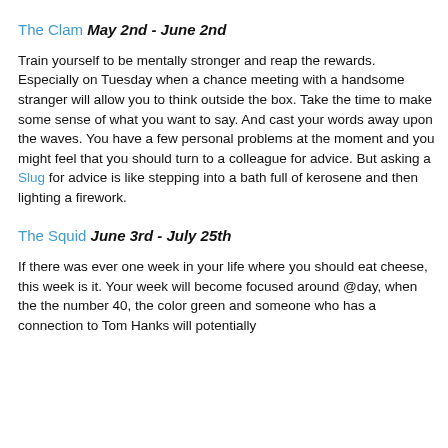'yes'. If you are not in the spotlight this week, then you bloody well should be.
The Clam May 2nd - June 2nd
Train yourself to be mentally stronger and reap the rewards. Especially on Tuesday when a chance meeting with a handsome stranger will allow you to think outside the box. Take the time to make some sense of what you want to say. And cast your words away upon the waves. You have a few personal problems at the moment and you might feel that you should turn to a colleague for advice. But asking a Slug for advice is like stepping into a bath full of kerosene and then lighting a firework.
The Squid June 3rd - July 25th
If there was ever one week in your life where you should eat cheese, this week is it. Your week will become focused around @day, when the the number 40, the color green and someone who has a connection to Tom Hanks will potentially